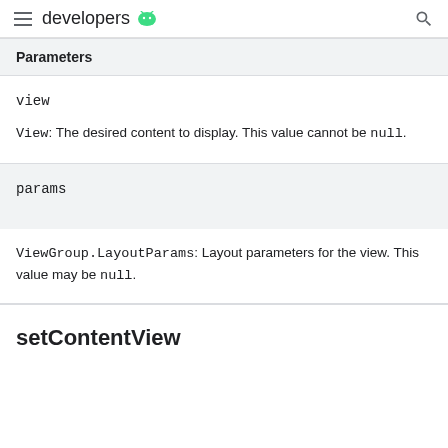developers
Parameters
view
View: The desired content to display. This value cannot be null.
params
ViewGroup.LayoutParams: Layout parameters for the view. This value may be null.
setContentView